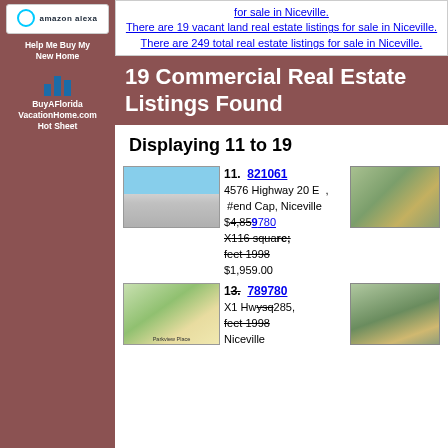[Figure (logo): Amazon Alexa logo in white box]
Help Me Buy My New Home
[Figure (illustration): BuyAFlorida VacationHome.com bar chart icon]
BuyAFlorida VacationHome.com Hot Sheet
for sale in Niceville. There are 19 vacant land real estate listings for sale in Niceville. There are 249 total real estate listings for sale in Niceville.
19 Commercial Real Estate Listings Found
Displaying 11 to 19
[Figure (photo): Commercial building storefront photo]
11. 821061 4576 Highway 20 E , #end Cap, Niceville $4,850.00 X116 square feet 1998 $1,959.00
[Figure (photo): Aerial satellite view of commercial area]
[Figure (illustration): Parkview Place site plan/map]
13. 789780 X1 Hwy 285, Niceville
[Figure (photo): Aerial satellite view of land parcel]